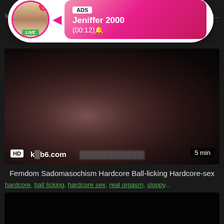Lusty Riding With Teen Hardcore Pussy fucking
teen, ... har...
[Figure (screenshot): Video thumbnail showing adult content with HD badge, site watermark 'k*b6.com', blurred bar, and '5 min' duration overlay. An ad overlay shows a profile photo with LIVE badge, notification badge '1', and pink gradient box with 'ADS', 'Jeniffer 2000', '(00:12)🔔']
Femdom Sadomasochism Hardcore Ball-licking Hardcore-sex
hardcore, ball licking, hardcore sex, real orgasm, sloppy...
[Figure (screenshot): Second video thumbnail, black/dark frame]